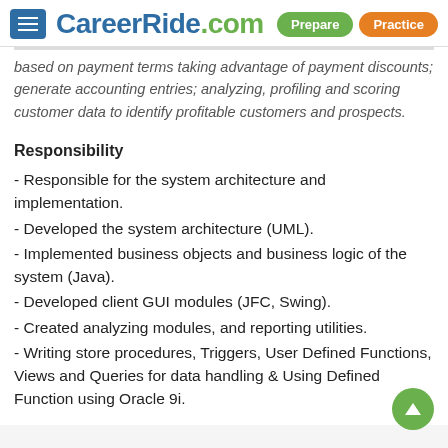CareerRide.com — Prepare | Practice
based on payment terms taking advantage of payment discounts; generate accounting entries; analyzing, profiling and scoring customer data to identify profitable customers and prospects.
Responsibility
- Responsible for the system architecture and implementation.
- Developed the system architecture (UML).
- Implemented business objects and business logic of the system (Java).
- Developed client GUI modules (JFC, Swing).
- Created analyzing modules, and reporting utilities.
- Writing store procedures, Triggers, User Defined Functions, Views and Queries for data handling & Using Defined Function using Oracle 9i.